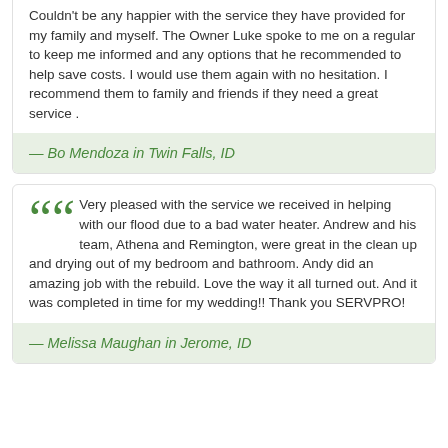Couldn't be any happier with the service they have provided for my family and myself. The Owner Luke spoke to me on a regular to keep me informed and any options that he recommended to help save costs. I would use them again with no hesitation. I recommend them to family and friends if they need a great service .
— Bo Mendoza in Twin Falls, ID
Very pleased with the service we received in helping with our flood due to a bad water heater. Andrew and his team, Athena and Remington, were great in the clean up and drying out of my bedroom and bathroom. Andy did an amazing job with the rebuild. Love the way it all turned out. And it was completed in time for my wedding!! Thank you SERVPRO!
— Melissa Maughan in Jerome, ID